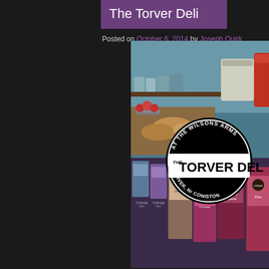The Torver Deli
Posted on October 6, 2014 by Joseph Quirk
[Figure (photo): Photo of The Torver Deli at The Wilsons Arms, Torver, Nr Coniston — showing deli products including preserves, pastries, and jars with branded labels on display counters, overlaid with a circular logo reading 'AT THE WILSONS ARMS / THE TORVER DELI / TORVER, Nr CONISTON']